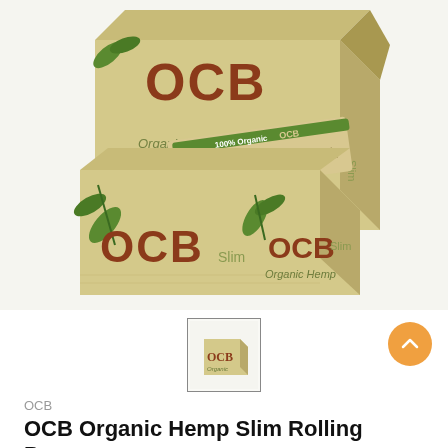[Figure (photo): OCB Organic Hemp Slim Rolling Papers box, open display box showing papers inside, with OCB branding in brown/red letters and green hemp leaf design on tan/kraft colored packaging. Two boxes visible – one open from top showing papers, one closed in front.]
[Figure (photo): Small thumbnail image of OCB Organic Hemp Slim Rolling Papers box]
OCB
OCB Organic Hemp Slim Rolling Papers -